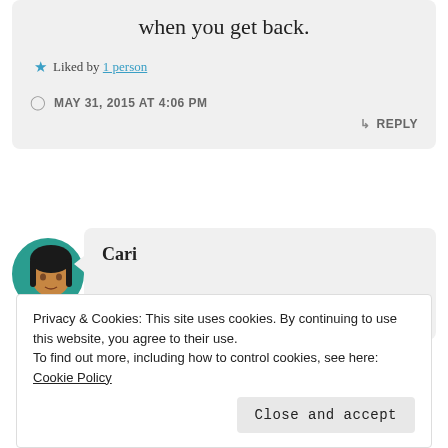when you get back.
Liked by 1 person
MAY 31, 2015 AT 4:06 PM
↳ REPLY
[Figure (photo): Circular avatar photo of a woman named Cari, with teal/green border.]
Cari
Privacy & Cookies: This site uses cookies. By continuing to use this website, you agree to their use. To find out more, including how to control cookies, see here: Cookie Policy
Close and accept